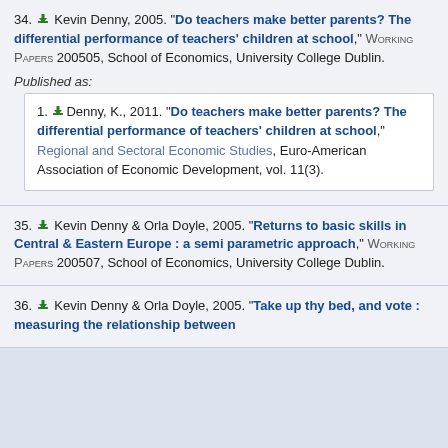34. Kevin Denny, 2005. "Do teachers make better parents? The differential performance of teachers' children at school," Working Papers 200505, School of Economics, University College Dublin.
Published as:
1. Denny, K., 2011. "Do teachers make better parents? The differential performance of teachers' children at school," Regional and Sectoral Economic Studies, Euro-American Association of Economic Development, vol. 11(3).
35. Kevin Denny & Orla Doyle, 2005. "Returns to basic skills in Central & Eastern Europe : a semi parametric approach," Working Papers 200507, School of Economics, University College Dublin.
36. Kevin Denny & Orla Doyle, 2005. "Take up thy bed, and vote : measuring the relationship between